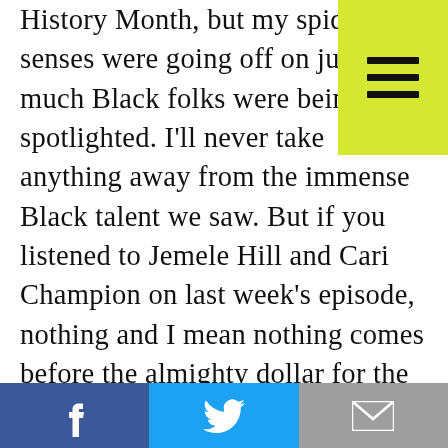History Month, but my spidey senses were going off on just how much Black folks were being spotlighted. I'll never take anything away from the immense Black talent we saw. But if you listened to Jemele Hill and Cari Champion on last week's episode, nothing and I mean nothing comes before the almighty dollar for the NFL, and the NFL clearly wanted us to forget about that pesky little discrimination suit from Brian Flores. Part of the theatricality and the peak Blackness of the Super Bowl was to distract from that
Facebook | Twitter | Email